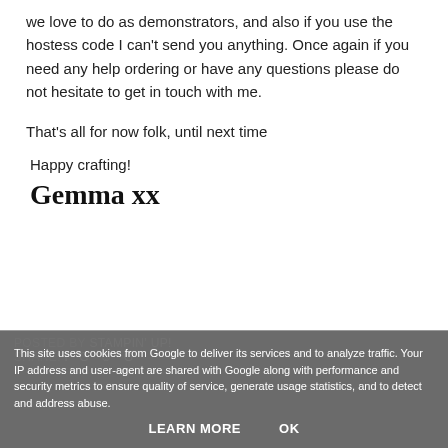we love to do as demonstrators, and also if you use the hostess code I can't send you anything. Once again if you need any help ordering or have any questions please do not hesitate to get in touch with me.
That's all for now folk, until next time
Happy crafting!
Gemma xx
This site uses cookies from Google to deliver its services and to analyze traffic. Your IP address and user-agent are shared with Google along with performance and security metrics to ensure quality of service, generate usage statistics, and to detect and address abuse.